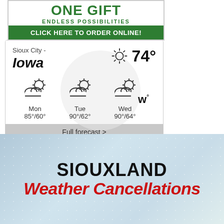[Figure (illustration): Green banner advertisement with 'ONE GIFT ENDLESS POSSIBILITIES' text and 'CLICK HERE TO ORDER ONLINE!' call to action button]
[Figure (other): Weather widget showing Sioux City - Iowa with current temperature 74°, and 3-day forecast: Mon 85°/60°, Tue 90°/62°, Wed 90°/64°, with a 'Full forecast >' link]
[Figure (illustration): Siouxland Weather Cancellations banner with snowy bokeh background, displaying 'SIOUXLAND' in black bold text and 'Weather Cancellations' in large red italic text]